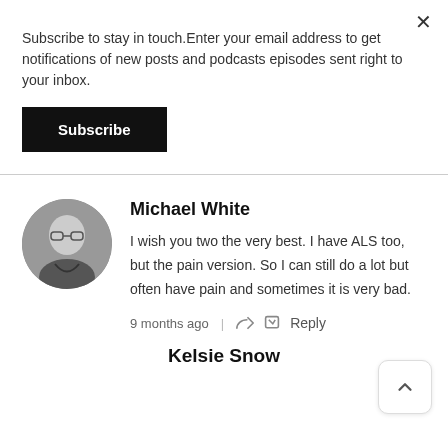×
Subscribe to stay in touch.Enter your email address to get notifications of new posts and podcasts episodes sent right to your inbox.
Subscribe
Michael White
[Figure (photo): Circular grayscale avatar photo of a man with glasses, smiling]
I wish you two the very best. I have ALS too, but the pain version. So I can still do a lot but often have pain and sometimes it is very bad.
9 months ago  |  Reply
Kelsie Snow